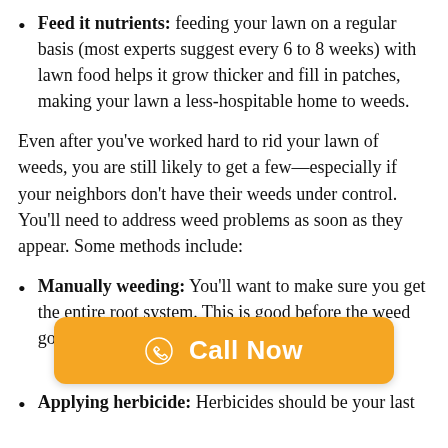Feed it nutrients: feeding your lawn on a regular basis (most experts suggest every 6 to 8 weeks) with lawn food helps it grow thicker and fill in patches, making your lawn a less-hospitable home to weeds.
Even after you've worked hard to rid your lawn of weeds, you are still likely to get a few—especially if your neighbors don't have their weeds under control. You'll need to address weed problems as soon as they appear. Some methods include:
Manually weeding: You'll want to make sure you get the entire root system. This is good before the weed go... ght actually...
Applying herbicide: Herbicides should be your last
[Figure (other): Orange 'Call Now' button overlay with phone icon]